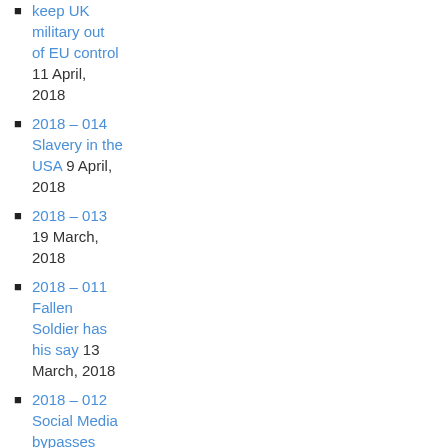keep UK military out of EU control 11 April, 2018
2018 – 014 Slavery in the USA 9 April, 2018
2018 – 013 19 March, 2018
2018 – 011 Fallen Soldier has his say 13 March, 2018
2018 – 012 Social Media bypasses Main Stream Media 13 March, 2018